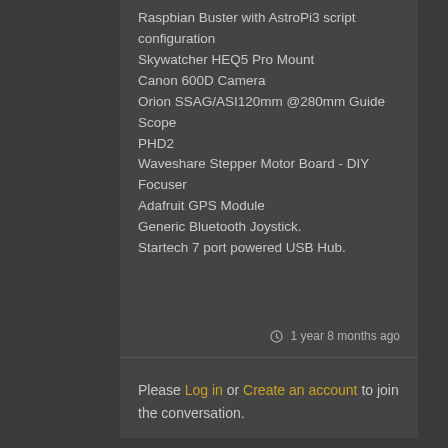Raspbian Buster with AstroPi3 script configuration
Skywatcher HEQ5 Pro Mount
Canon 600D Camera
Orion SSAG/ASI120mm @280mm Guide Scope
PHD2
Waveshare Stepper Motor Board - DIY Focuser
Adafruit GPS Module
Generic Bluetooth Joystick.
Startech 7 port powered USB Hub.
1 year 8 months ago
Please Log in or Create an account to join the conversation.